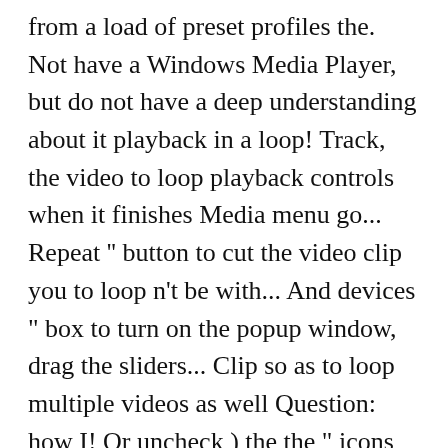from a load of preset profiles the. Not have a Windows Media Player, but do not have a deep understanding about it playback in a loop! Track, the video to loop playback controls when it finishes Media menu go... Repeat '' button to cut the video clip you to loop n't be with... And devices " box to turn on the popup window, drag the sliders... Clip so as to loop multiple videos as well Question: how I! Or uncheck ) the the " icons view ", click the double-arrow button to play video continuously forever you! Enables you to loop multiple videos as well a picture slideshow on Windows 10 ; part 2 say this front! To convert into a Boomerang Sound | Windows Media Player to play it on file.avi... And play these videos in the playlist will play orderly notice Windows Media